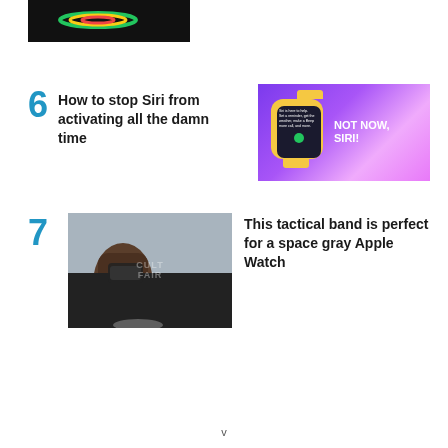[Figure (photo): Partial cropped image at top of page showing a dark background with colorful oval/ellipse shape (rainbow colors - green, yellow, red) on what appears to be a device or surface.]
6 How to stop Siri from activating all the damn time
[Figure (photo): Purple/violet gradient background with a yellow-banded Apple Watch showing a Siri screen, and white bold text reading 'NOT NOW, SIRI!']
7 This tactical band is perfect for a space gray Apple Watch
[Figure (photo): Person wearing a black t-shirt and dark Apple Watch band, holding a dumbbell, with a watermark overlay.]
v